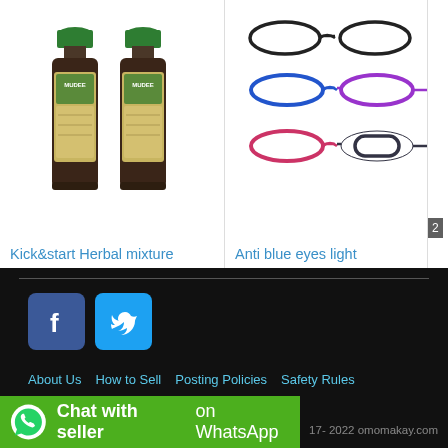[Figure (photo): Two dark glass bottles labeled MUDEE herbal mixture with green caps, product listing image]
2 📷   5.00 USD
Kick&start Herbal mixture
Bardnersville , Montser...
[Figure (photo): Multiple eyeglass frames in various colors: black, blue, purple, pink, arranged in rows]
3 📷   30.00 USD
Anti blue eyes light
Duport Road, Montserr...
[Figure (logo): Facebook logo icon (white 'f' on blue rounded square)]
[Figure (logo): Twitter logo icon (white bird on blue rounded square)]
About Us   How to Sell   Posting Policies   Safety Rules   Terms and Conditions   Contact
Chat with seller on WhatsApp
17- 2022 omomakay.com